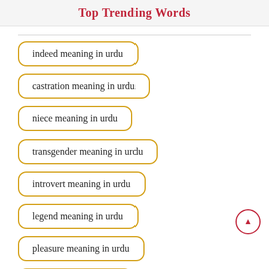Top Trending Words
indeed meaning in urdu
castration meaning in urdu
niece meaning in urdu
transgender meaning in urdu
introvert meaning in urdu
legend meaning in urdu
pleasure meaning in urdu
rapist meaning in urdu